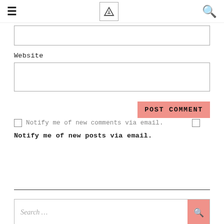≡ [logo] 🔍
(partial input field at top)
Website
(website input field)
POST COMMENT
☐ Notify me of new comments via email.
Notify me of new posts via email.
Search ...